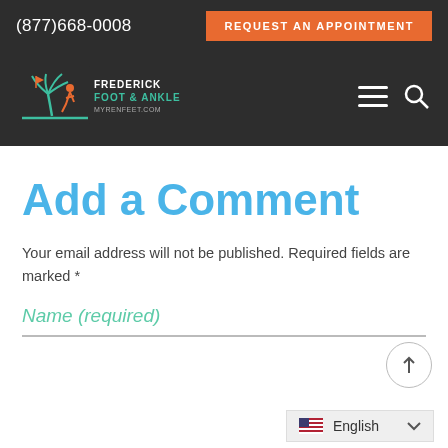(877)668-0008 | REQUEST AN APPOINTMENT
[Figure (logo): Frederick Foot & Ankle logo with palm tree and running figure icon, teal and orange colors, myrenfeet.com]
Add a Comment
Your email address will not be published. Required fields are marked *
Name (required)